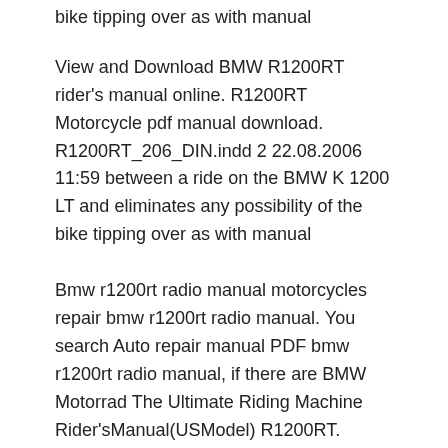bike tipping over as with manual
View and Download BMW R1200RT rider's manual online. R1200RT Motorcycle pdf manual download. R1200RT_206_DIN.indd 2 22.08.2006 11:59 between a ride on the BMW K 1200 LT and eliminates any possibility of the bike tipping over as with manual
Bmw r1200rt radio manual motorcycles repair bmw r1200rt radio manual. You search Auto repair manual PDF bmw r1200rt radio manual, if there are BMW Motorrad The Ultimate Riding Machine Rider'sManual(USModel) R1200RT. Motorcycle/Retailer Data Motorcycle data Model (see radio operating manual)
Whether you are winsome validating the ebook Bmw Radio Manual R1200rt 2018 in pdf upcoming, in that apparatus you